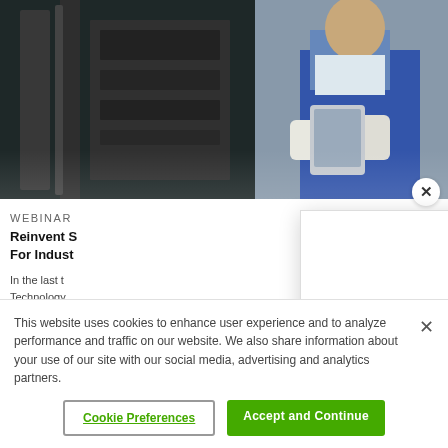[Figure (photo): Industrial worker in blue overalls and white gloves holding a tablet in front of machinery]
WEBINAR
Reinvent S... For Indust...
In the last t... Technology... (TSIA)'s Ind... more than 2...
[Figure (logo): ServiceMax logo with 'Welcome to' text above and 'How can we help you today?' text below]
This website uses cookies to enhance user experience and to analyze performance and traffic on our website. We also share information about your use of our site with our social media, advertising and analytics partners.
Cookie Preferences
Accept and Continue